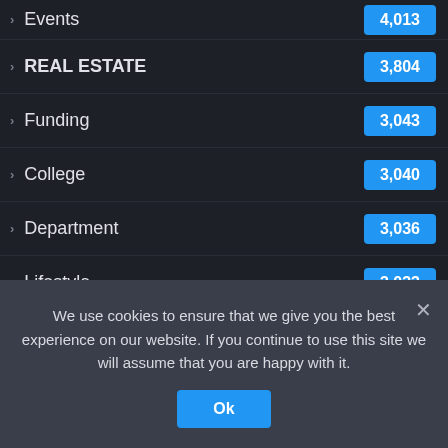Events — 4,013
REAL ESTATE — 3,804
Funding — 3,043
College — 3,040
Department — 3,036
Lifestyle — 3,033
Innovation — 3,028
Business — 3,026
School — 3,017
Learn Languages — 3,017
Students — 3,016
We use cookies to ensure that we give you the best experience on our website. If you continue to use this site we will assume that you are happy with it.